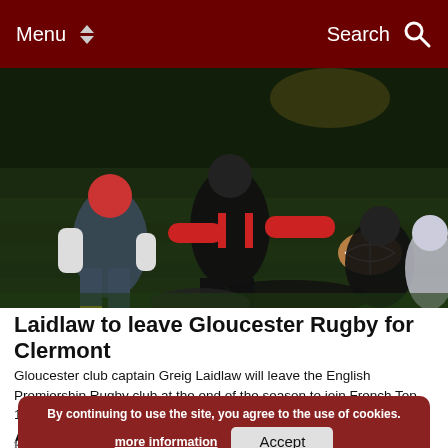Menu  Search
[Figure (photo): Rugby players in action during a match, a scrum-half passing the ball with players in black/red and white/blue kits competing under floodlights on a green pitch]
Laidlaw to leave Gloucester Rugby for Clermont
Gloucester club captain Greig Laidlaw will leave the English Premiership Rugby club at the end of the season to join French Top 14 club Clermont. Scotland captain Laidlaw joined...
By continuing to use the site, you agree to the use of cookies. more information  Accept
Harlequins sign... M...
Australia hold off Argentina at Twickenham